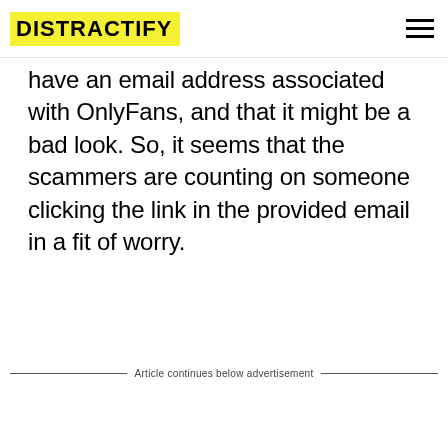DISTRACTIFY
have an email address associated with OnlyFans, and that it might be a bad look. So, it seems that the scammers are counting on someone clicking the link in the provided email in a fit of worry.
Article continues below advertisement